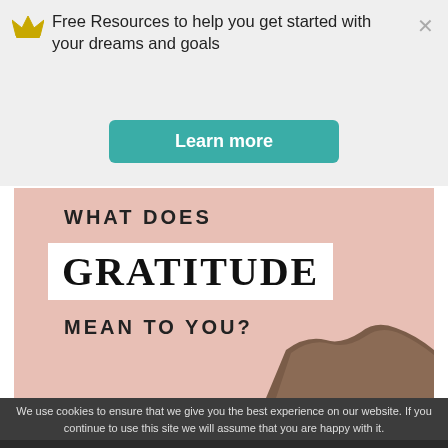Free Resources to help you get started with your dreams and goals
Learn more
[Figure (illustration): Blog post header image with pink/blush background showing the text 'WHAT DOES GRATITUDE MEAN TO YOU?' with a silhouette of a rocky mountain in the bottom-right corner]
We use cookies to ensure that we give you the best experience on our website. If you continue to use this site we will assume that you are happy with it.
Ok   Privacy policy   Share This